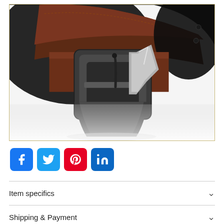[Figure (photo): Close-up product photo of a leather belt with a dark gunmetal pin buckle, showing brown leather on top and black leather underneath, coiled on a white background, inside a gold/tan bordered frame.]
[Figure (infographic): Row of four social media share icons: Facebook (blue), Twitter (light blue), Pinterest (red), LinkedIn (dark blue)]
Item specifics
Shipping & Payment